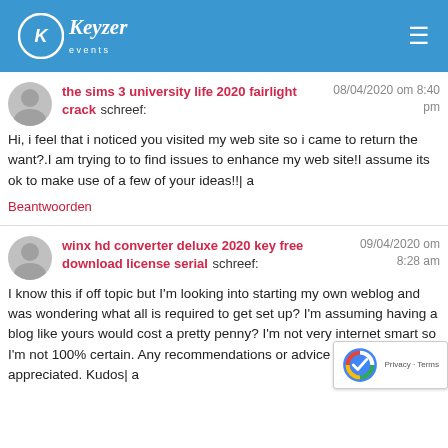Keyzer events
the sims 3 university life 2020 fairlight crack schreef: 08/04/2020 om 8:40 pm
Hi, i feel that i noticed you visited my web site so i came to return the want?.I am trying to to find issues to enhance my web site!I assume its ok to make use of a few of your ideas!!| a
Beantwoorden
winx hd converter deluxe 2020 key free download license serial schreef: 09/04/2020 om 8:28 am
I know this if off topic but I'm looking into starting my own weblog and was wondering what all is required to get set up? I'm assuming having a blog like yours would cost a pretty penny? I'm not very internet smart so I'm not 100% certain. Any recommendations or advice would be greatly appreciated. Kudos| a